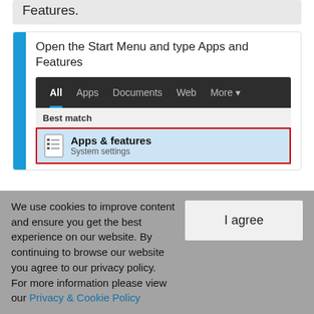Features.
Open the Start Menu and type Apps and Features
[Figure (screenshot): Windows search bar showing tabs: All, Apps, Documents, Web, More. Best match section shows Apps & features highlighted in blue with red border, and System settings below.]
We use cookies to improve content and ensure you get the best experience on our website. By continuing to browse our website you agree to our privacy policy.
For more information please view our Privacy & Cookie Policy